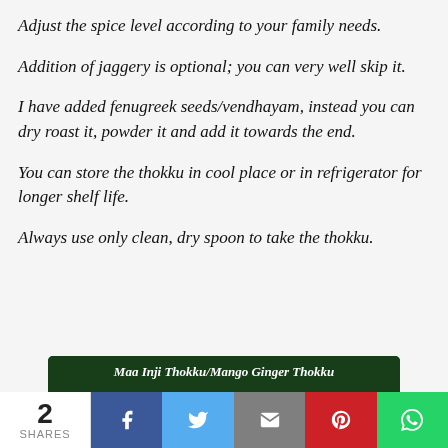Adjust the spice level according to your family needs.
Addition of jaggery is optional; you can very well skip it.
I have added fenugreek seeds/vendhayam, instead you can dry roast it, powder it and add it towards the end.
You can store the thokku in cool place or in refrigerator for longer shelf life.
Always use only clean, dry spoon to take the thokku.
[Figure (photo): A white bowl containing Maa Inji Thokku / Mango Ginger Thokku on a green banana leaf background. Title text reads 'Maa Inji Thokku/Mango Ginger Thokku']
2 SHARES | Facebook | Twitter | Email | Pinterest | WhatsApp